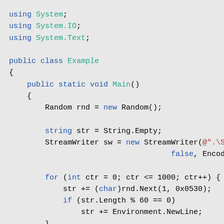using System;
using System.IO;
using System.Text;

public class Example
{
    public static void Main()
    {
        Random rnd = new Random();

        string str = String.Empty;
        StreamWriter sw = new StreamWriter(@".\St...
                                    false, Encoding.Unico...

        for (int ctr = 0; ctr <= 1000; ctr++) {
            str += (char)rnd.Next(1, 0x0530);
            if (str.Length % 60 == 0)
                str += Environment.NewLine;
        }
        sw.Write(str);
        sw.Close();
    }
}